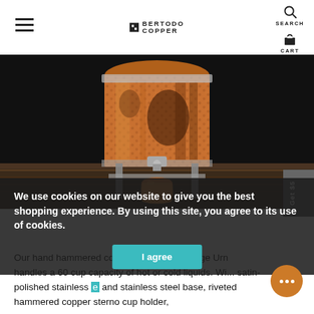BERTODO COPPER
[Figure (photo): Hammered copper Arcadia Beverage Urn with spigot and cup, on wooden surface against dark background]
We use cookies on our website to give you the best shopping experience. By using this site, you agree to its use of cookies.
Our hand hammered copper Arcadia Beverage Urn handles a 60 cup capacity of hot or cold liquids. Wi... satin-polished stainless ... and stainless steel base, riveted hammered copper sterno cup holder,